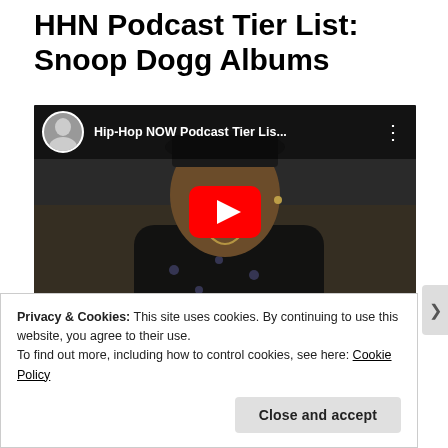HHN Podcast Tier List: Snoop Dogg Albums
[Figure (screenshot): Embedded YouTube video player showing Hip-Hop NOW Podcast Tier Lis... with a thumbnail of Snoop Dogg and a red play button. Channel avatar and title visible in top bar.]
Privacy & Cookies: This site uses cookies. By continuing to use this website, you agree to their use.
To find out more, including how to control cookies, see here: Cookie Policy
Close and accept